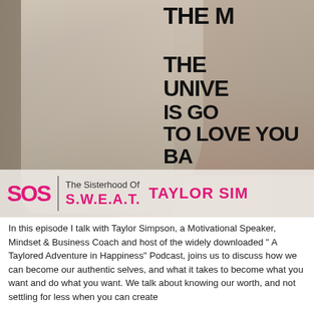[Figure (photo): A podcast episode cover image showing a blonde woman in a gray t-shirt and white striped pants bending forward, photographed outdoors on a city street. Overlaid text reads 'THE MORE YOU LOVE THE UNIVERSE IS GOING TO LOVE YOU BACK'. Bottom branding shows SOS logo, 'The Sisterhood Of S.W.E.A.T.' and 'TAYLOR SIMPSON'.]
In this episode I talk with Taylor Simpson, a Motivational Speaker, Mindset & Business Coach and host of the widely downloaded " A Taylored Adventure in Happiness" Podcast, joins us to discuss how we can become our authentic selves, and what it takes to become what you want and do what you want. We talk about knowing our worth, and not settling for less when you can create